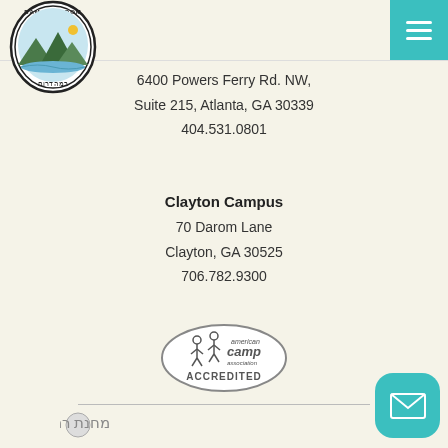[Figure (logo): Ramah Darom camp logo - oval shape with Hebrew text at bottom and English text at top, with nature scene inside]
6400 Powers Ferry Rd. NW,
Suite 215, Atlanta, GA 30339
404.531.0801
Clayton Campus
70 Darom Lane
Clayton, GA 30525
706.782.9300
[Figure (logo): American Camp Association Accredited seal logo]
[Figure (logo): Ramah Hebrew logo at bottom of page]